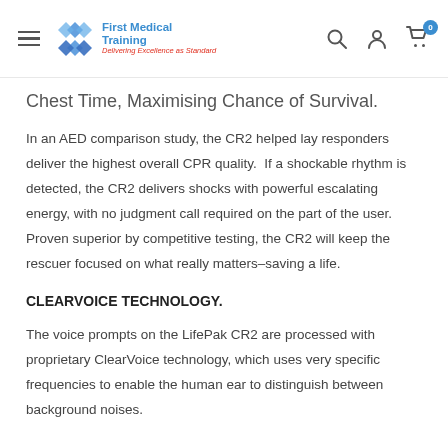First Medical Training — navigation header with search, account, and cart icons
Chest Time, Maximising Chance of Survival.
In an AED comparison study, the CR2 helped lay responders deliver the highest overall CPR quality.  If a shockable rhythm is detected, the CR2 delivers shocks with powerful escalating energy, with no judgment call required on the part of the user. Proven superior by competitive testing, the CR2 will keep the rescuer focused on what really matters–saving a life.
CLEARVOICE TECHNOLOGY.
The voice prompts on the LifePak CR2 are processed with proprietary ClearVoice technology, which uses very specific frequencies to enable the human ear to distinguish between background noises.